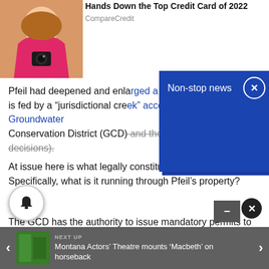[Figure (photo): Woman with curly hair smiling, holding a camera, wearing pink top - advertisement photo]
Hands Down the Top Credit Card of 2022
CompareCredit
[Figure (screenshot): Blue popup overlay with 'Non-stop news' header and X close button]
Pfeil had deepened and enlarged a water conveyance that is fed by a "jurisdictional creek" according to the Groundwater Conservation District (GCD) and the District Court decisions.
At issue here is what legally constitutes a creek. Or a ditch. Specifically, what is it running through Pfeil's property?
The GCD has the authority to issue mandatory permits to alter a natural perennial flowing stream, its beds or its immediate banks. To change a ditch doesn't require a permit.
NEXT UP
Montana Actors' Theatre mounts 'Macbeth' on horseback